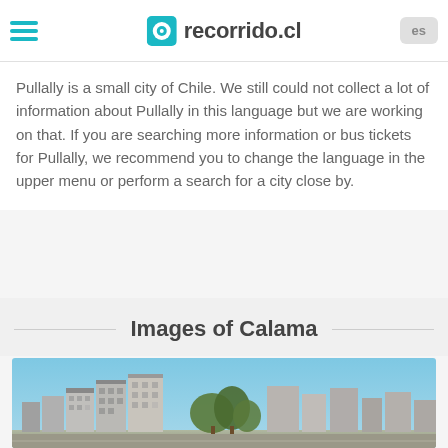recorrido.cl
Pullally is a small city of Chile. We still could not collect a lot of information about Pullally in this language but we are working on that. If you are searching more information or bus tickets for Pullally, we recommend you to change the language in the upper menu or perform a search for a city close by.
Images of Calama
[Figure (photo): Cityscape of Calama, Chile, showing multi-story buildings against a clear blue sky with trees in the foreground]